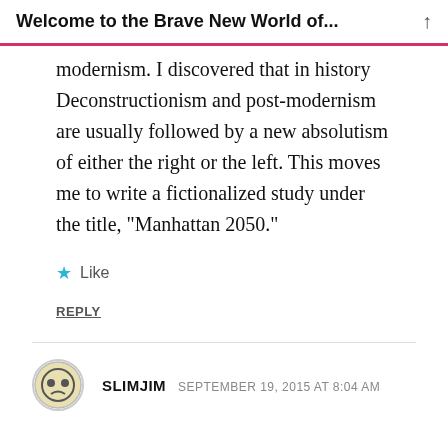Welcome to the Brave New World of...
modernism. I discovered that in history Deconstructionism and post-modernism are usually followed by a new absolutism of either the right or the left. This moves me to write a fictionalized study under the title, “Manhattan 2050.”
Like
REPLY
SLIMJIM SEPTEMBER 19, 2015 AT 8:04 AM